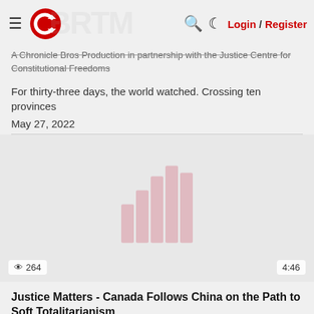≡ [Logo] 🔍 ☾ Login / Register
A Chronicle Bros Production in partnership with the Justice Centre for Constitutional Freedoms
For thirty-three days, the world watched. Crossing ten provinces
May 27, 2022
[Figure (other): Video thumbnail with bar chart watermark, showing 264 views and 4:46 duration]
Justice Matters - Canada Follows China on the Path to Soft Totalitarianism